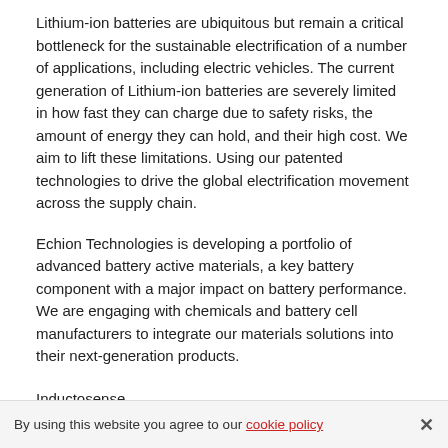Lithium-ion batteries are ubiquitous but remain a critical bottleneck for the sustainable electrification of a number of applications, including electric vehicles. The current generation of Lithium-ion batteries are severely limited in how fast they can charge due to safety risks, the amount of energy they can hold, and their high cost. We aim to lift these limitations. Using our patented technologies to drive the global electrification movement across the supply chain.
Echion Technologies is developing a portfolio of advanced battery active materials, a key battery component with a major impact on battery performance. We are engaging with chemicals and battery cell manufacturers to integrate our materials solutions into their next-generation products.
Inductosense
Inductosense technology can be used for monitoring corrosion, erosion or defects within structures without human error reducing the time and costs associated with testing. The company is
By using this website you agree to our cookie policy ×